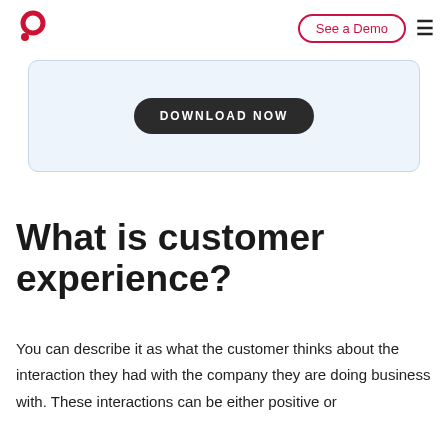See a Demo  ≡
[Figure (logo): Red circular logo with a large ring and a small dot below, resembling a stylized face or brand mark]
[Figure (screenshot): Light blue rounded box containing a dark rounded button labeled DOWNLOAD NOW]
What is customer experience?
You can describe it as what the customer thinks about the interaction they had with the company they are doing business with. These interactions can be either positive or